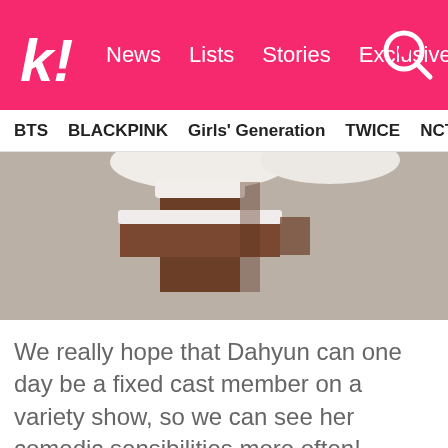k! News Lists Stories Exclusives
BTS BLACKPINK Girls' Generation TWICE NCT SEVE
[Figure (photo): Partial view of an image showing what appears to be a snowy or white-topped brown object, cropped at the top of the article]
We really hope that Dahyun can one day be a fixed cast member on a variety show, so we can see her comedic sensibilities more often!
ADVERTISEMENT
[Figure (photo): Advertisement banner showing a woman in a blue lace dress on the left side and black boots on the right side, with play and close buttons at top right]